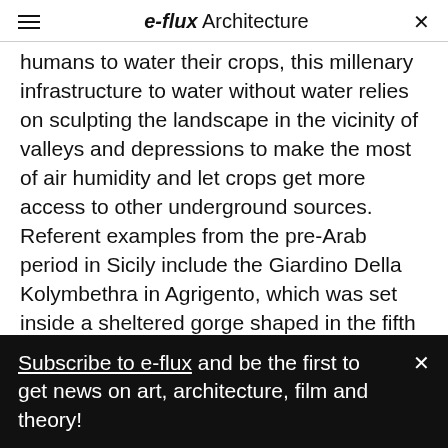e-flux Architecture
humans to water their crops, this millenary infrastructure to water without water relies on sculpting the landscape in the vicinity of valleys and depressions to make the most of air humidity and let crops get more access to other underground sources. Referent examples from the pre-Arab period in Sicily include the Giardino Della Kolymbethra in Agrigento, which was set inside a sheltered gorge shaped in the fifth century BC, during the Greek settlement period,6 and the Hypogean Gardens of Favignana, which were planted in disused limestone quarries and took
Subscribe to e-flux and be the first to get news on art, architecture, film and theory!